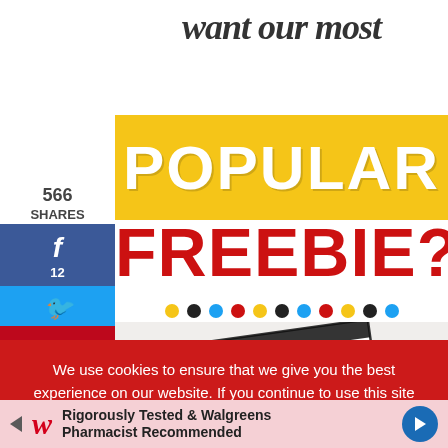want our most
[Figure (infographic): Yellow banner with large white bold text reading POPULAR]
FREEBIE?
[Figure (illustration): Colorful dot row separator with yellow, black, blue, red dots; below is a partially visible worksheet preview with 'Jennifer_'s' handwriting]
566 SHARES
[Figure (infographic): Facebook share button with icon and count 12]
[Figure (infographic): Twitter share button with bird icon]
[Figure (infographic): Pinterest share button with P icon and count 554]
We use cookies to ensure that we give you the best experience on our website. If you continue to use this site we will assume that you are happy with it.
[Figure (infographic): Walgreens advertisement banner: Rigorously Tested & Walgreens Pharmacist Recommended]